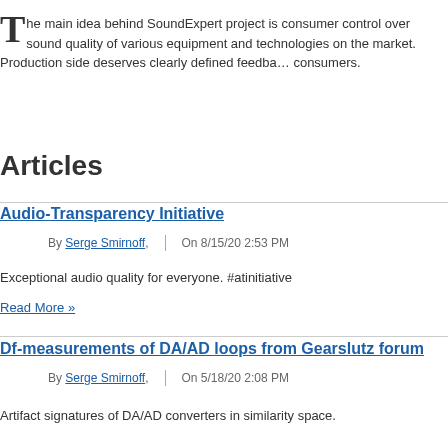The main idea behind SoundExpert project is consumer control over sound quality of various equipment and technologies on the market. Production side deserves clearly defined feedback from consumers.
Articles
Audio-Transparency Initiative
By Serge Smirnoff, | On 8/15/20 2:53 PM
Exceptional audio quality for everyone. #atinitiative
Read More »
Df-measurements of DA/AD loops from Gearslutz forum
By Serge Smirnoff, | On 5/18/20 2:08 PM
Artifact signatures of DA/AD converters in similarity space.